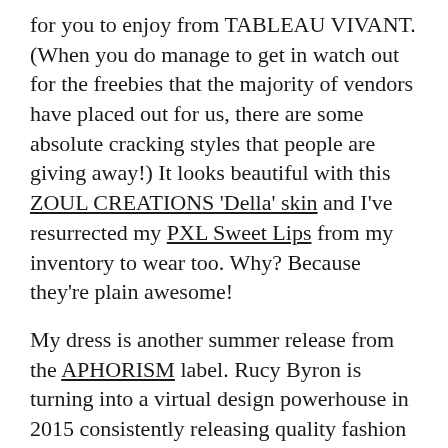for you to enjoy from TABLEAU VIVANT. (When you do manage to get in watch out for the freebies that the majority of vendors have placed out for us, there are some absolute cracking styles that people are giving away!) It looks beautiful with this ZOUL CREATIONS 'Della' skin and I've resurrected my PXL Sweet Lips from my inventory to wear too. Why? Because they're plain awesome!

My dress is another summer release from the APHORISM label. Rucy Byron is turning into a virtual design powerhouse in 2015 consistently releasing quality fashion for male and female avatars; the dress is available in either pattern, plain or floral flavours and encapsulates perfectly the Boho vibe that seems to be rocking Second Life in 2015. You'll find it at THE SEASONS STORY.  To accessorise, I've added a nose-ring from the latest round of OMG GACHA! which is full of Summer and kawaii-themed